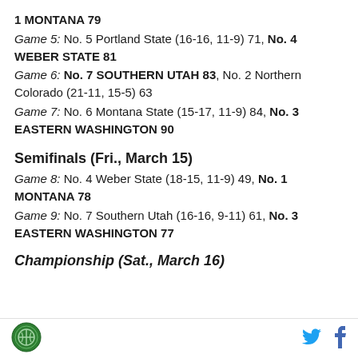1 MONTANA 79
Game 5: No. 5 Portland State (16-16, 11-9) 71, No. 4 WEBER STATE 81
Game 6: No. 7 SOUTHERN UTAH 83, No. 2 Northern Colorado (21-11, 15-5) 63
Game 7: No. 6 Montana State (15-17, 11-9) 84, No. 3 EASTERN WASHINGTON 90
Semifinals (Fri., March 15)
Game 8: No. 4 Weber State (18-15, 11-9) 49, No. 1 MONTANA 78
Game 9: No. 7 Southern Utah (16-16, 9-11) 61, No. 3 EASTERN WASHINGTON 77
Championship (Sat., March 16)
[Figure (logo): Sports reference logo — circular green badge with basketball icon]
[Figure (logo): Twitter bird icon in blue]
[Figure (logo): Facebook f icon in blue]